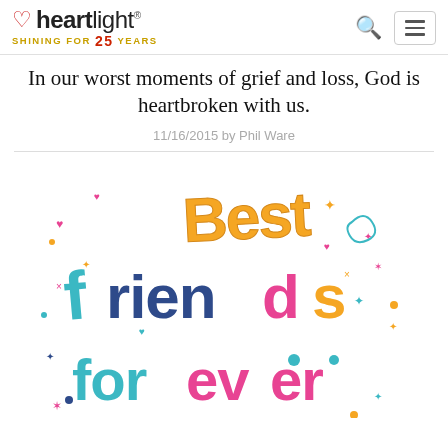heartlight® — SHINING FOR 25 YEARS
In our worst moments of grief and loss, God is heartbroken with us.
11/16/2015 by Phil Ware
[Figure (illustration): Colorful decorative text illustration reading 'Best friends forever' in multicolored playful lettering with hearts, stars, and decorative elements]